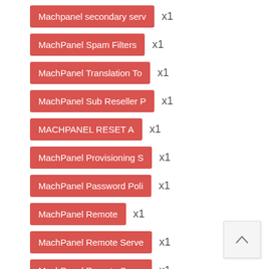Machpanel secondary serv x1
MachPanel Spam Filters x1
MachPanel Translation To x1
MachPanel Sub Reseller P x1
MACHPANEL RESET A x1
MachPanel Provisioning S x1
MachPanel Password Poli x1
MachPanel Remote x1
MachPanel Remote Serve x1
MachPanel Remote Serve x1
MachPanel Build v7.0.41 x1
MachPanel build v6.0.32 x1
MachPanel build v5.2.26 x1